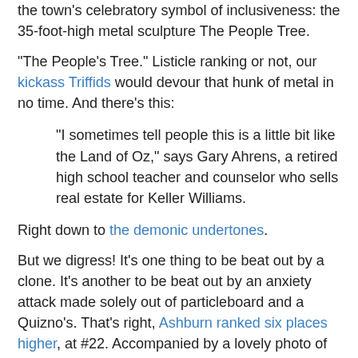the town's celebratory symbol of inclusiveness: the 35-foot-high metal sculpture The People Tree.
"The People's Tree." Listicle ranking or not, our kickass Triffids would devour that hunk of metal in no time. And there's this:
“I sometimes tell people this is a little bit like the Land of Oz,” says Gary Ahrens, a retired high school teacher and counselor who sells real estate for Keller Williams.
Right down to the demonic undertones.
But we digress! It's one thing to be beat out by a clone. It's another to be beat out by an anxiety attack made solely out of particleboard and a Quizno's. That's right, Ashburn ranked six places higher, at #22. Accompanied by a lovely photo of the bread lines that invariably will pop up once gas goes up to $13 a gallon and people realize there's no mass transit, the Ashburn writeup focuses largely on one thing: